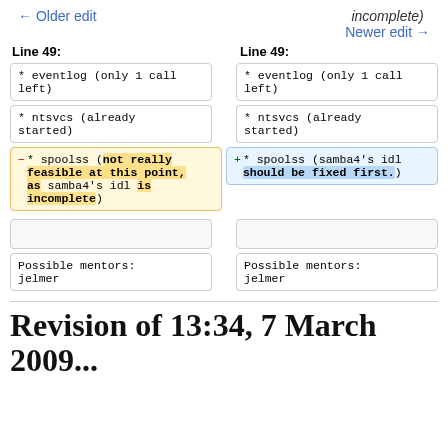← Older edit    incomplete)
    Newer edit →
Line 49:   Line 49:
* eventlog (only 1 call
left)

* ntsvcs (already
started)

* spoolss (not really
feasible at this point,
as samba4's idl is
incomplete)

[empty]

Possible mentors:
jelmer
* eventlog (only 1 call
left)

* ntsvcs (already
started)

* spoolss (samba4's idl
should be fixed first.)

[empty]

Possible mentors:
jelmer
Revision of 13:34, 7 March 2009...